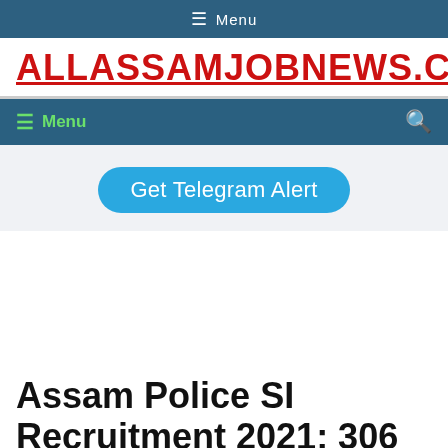☰ Menu
[Figure (logo): ALLASSAMJOBNEWS.COM logo in red bold text with underline]
☰ Menu 🔍
Get Telegram Alert
Assam Police SI Recruitment 2021: 306